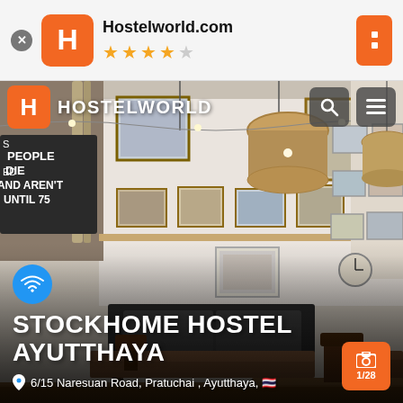[Figure (screenshot): Mobile browser showing Hostelworld.com with 4 star rating in the address/tab bar area at top]
[Figure (photo): Interior of Stockhome Hostel Ayutthaya showing a common room with framed photos on walls, pendant lamp, sofa, wooden tables, and a plant. Hostelworld app UI overlay with navigation bar showing HOSTELWORLD logo with search and menu icons.]
STOCKHOME HOSTEL AYUTTHAYA
6/15 Naresuan Road, Pratuchai , Ayutthaya,